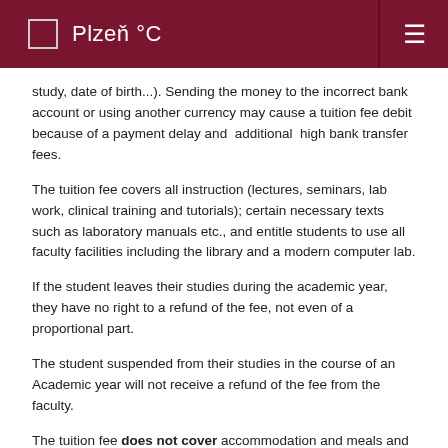Plzeň °C
study, date of birth...). Sending the money to the incorrect bank account or using another currency may cause a tuition fee debit because of a payment delay and  additional  high bank transfer fees.
The tuition fee covers all instruction (lectures, seminars, lab work, clinical training and tutorials); certain necessary texts such as laboratory manuals etc., and entitle students to use all faculty facilities including the library and a modern computer lab.
If the student leaves their studies during the academic year, they have no right to a refund of the fee, not even of a proportional part.
The student suspended from their studies in the course of an Academic year will not receive a refund of the fee from the faculty.
The tuition fee does not cover accommodation and meals and